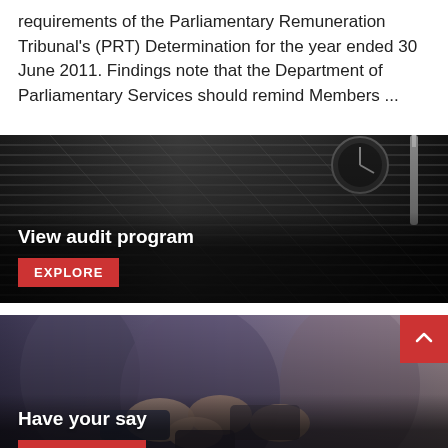requirements of the Parliamentary Remuneration Tribunal's (PRT) Determination for the year ended 30 June 2011. Findings note that the Department of Parliamentary Services should remind Members ...
[Figure (photo): Close-up photo of a dark mechanical or audio device (appears to be a typewriter or audio equipment with ridged/corrugated surface), with text overlay 'View audit program' and a red EXPLORE button]
[Figure (photo): Photo of people joining hands together in a group gesture, with text overlay 'Have your say' and a red CONTRIBUTE button. A red back-to-top arrow button appears in the top-right corner.]